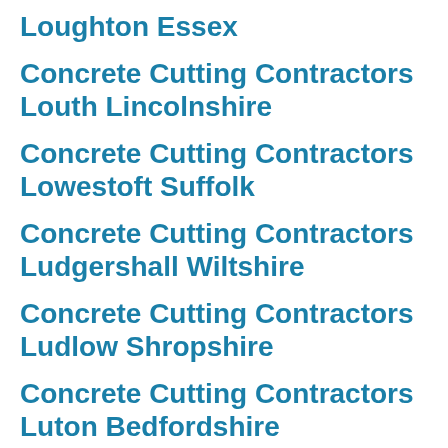Loughton Essex
Concrete Cutting Contractors Louth Lincolnshire
Concrete Cutting Contractors Lowestoft Suffolk
Concrete Cutting Contractors Ludgershall Wiltshire
Concrete Cutting Contractors Ludlow Shropshire
Concrete Cutting Contractors Luton Bedfordshire
Concrete Cutting Contractors Luton Northamptonshire